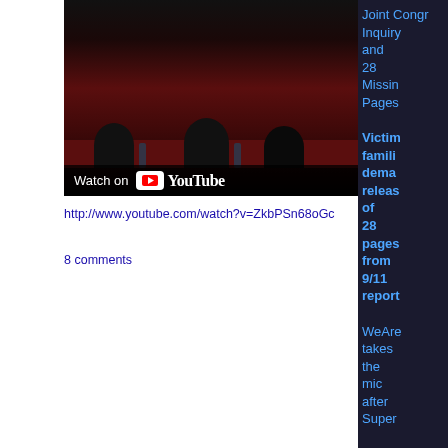[Figure (screenshot): YouTube video thumbnail showing people seated at a table with a dark red/maroon backdrop, with a 'Watch on YouTube' bar overlay at the bottom]
http://www.youtube.com/watch?v=ZkbPSn68oGc
8 comments
Joint Congressional Inquiry and 28 Missing Pages
Victim families demand release of 28 pages from 9/11 report
WeAre takes the mic after Super